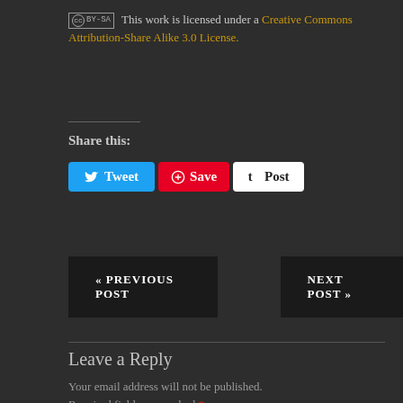This work is licensed under a Creative Commons Attribution-Share Alike 3.0 License.
Share this:
[Figure (other): Social share buttons: Tweet (Twitter), Save (Pinterest), Post (Tumblr)]
« PREVIOUS POST
NEXT POST »
Leave a Reply
Your email address will not be published. Required fields are marked *
Comment *